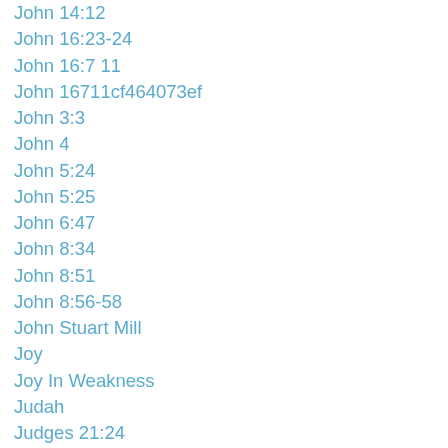John 14:12
John 16:23-24
John 16:7 11
John 16711cf464073ef
John 3:3
John 4
John 5:24
John 5:25
John 6:47
John 8:34
John 8:51
John 8:56-58
John Stuart Mill
Joy
Joy In Weakness
Judah
Judges 21:24
Judges 9
Judgment
Justice
Kindness